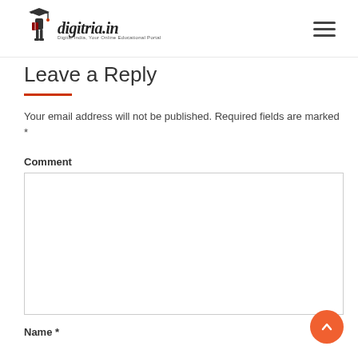digitria.in — Digital India, Your Online Educational Portal
Leave a Reply
Your email address will not be published. Required fields are marked *
Comment
Name *